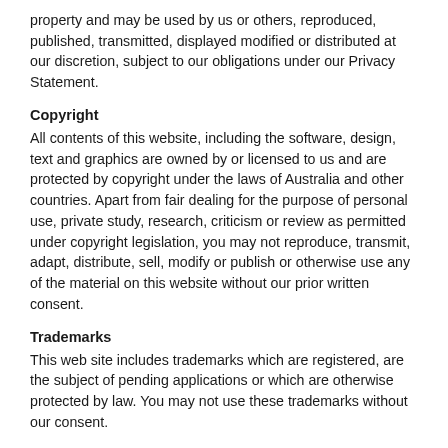property and may be used by us or others, reproduced, published, transmitted, displayed modified or distributed at our discretion, subject to our obligations under our Privacy Statement.
Copyright
All contents of this website, including the software, design, text and graphics are owned by or licensed to us and are protected by copyright under the laws of Australia and other countries. Apart from fair dealing for the purpose of personal use, private study, research, criticism or review as permitted under copyright legislation, you may not reproduce, transmit, adapt, distribute, sell, modify or publish or otherwise use any of the material on this website without our prior written consent.
Trademarks
This web site includes trademarks which are registered, are the subject of pending applications or which are otherwise protected by law. You may not use these trademarks without our consent.
DISCLAIMER AND LIMITATION OF LIABILITY
To the extent permitted by law, we exclude all warranties, conditions and representations whether express, implied, statutory or otherwise, relating in any way to this web site, your use of this web site and the information, products and services supplied, offered to be supplied or